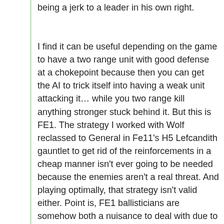being a jerk to a leader in his own right.
I find it can be useful depending on the game to have a two range unit with good defense at a chokepoint because then you can get the AI to trick itself into having a weak unit attacking it… while you two range kill anything stronger stuck behind it. But this is FE1. The strategy I worked with Wolf reclassed to General in Fe11's H5 Lefcandith gauntlet to get rid of the reinforcements in a cheap manner isn't ever going to be needed because the enemies aren't a real threat. And playing optimally, that strategy isn't valid either. Point is, FE1 ballisticians are somehow both a nuisance to deal with due to high defense and 20 being the universal cap for strength and virtually useless to the player due to their movement.
That'd explain way too much about Hinoka's storyline irrelevance.
Really depends what they're fighting, though as Ping said, there's two Javelin Pegasi that Wil can bait that Rebecca can't due to starting positions. Which does give him two kills in an optimal